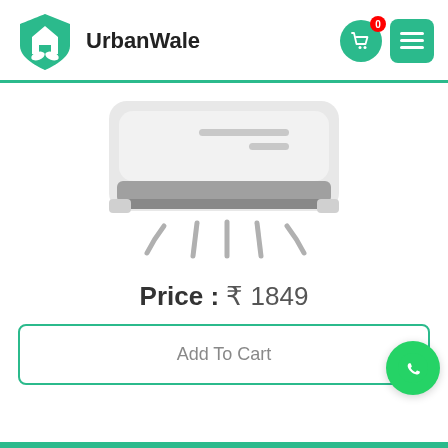UrbanWale
[Figure (illustration): Illustration of a wall-mounted air conditioner unit with airflow lines beneath it]
Price :  ₹ 1849
Add To Cart